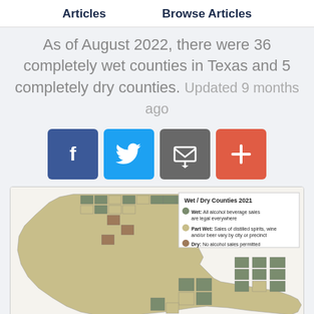Articles   Browse Articles
As of August 2022, there were 36 completely wet counties in Texas and 5 completely dry counties. Updated 9 months ago
[Figure (infographic): Social sharing buttons: Facebook, Twitter, Email, Add/More]
[Figure (map): Wet / Dry Counties 2021 map of Texas. Legend: Wet (green) - All alcohol beverage sales are legal everywhere; Part Wet (tan/yellow) - Sales of distilled spirits, wine and/or beer vary by city or precinct; Dry (brown) - No alcohol sales permitted]